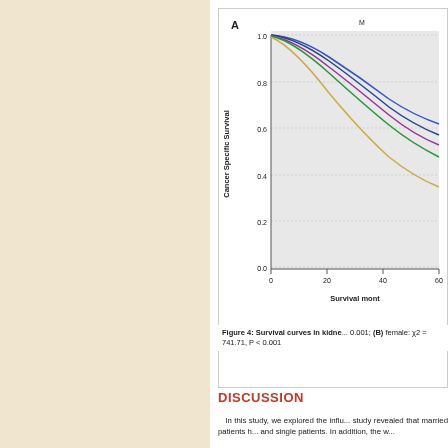[Figure (continuous-plot): Kaplan-Meier survival curves (panel A) showing Cancer Specific Survival vs Survival months for kidney cancer patients, with multiple colored curves (blue, purple/magenta, green, yellow-tan). Y-axis ranges from 0.0 to 1.0, X-axis shows survival months with ticks at 0, 20, 40, 60+. Label 'A' in top-left, 'M...' legend text at top-right (partially cut off). X-axis label: 'Survival mont...' (cut off). Y-axis label: 'Cancer Specific Survival'.]
Figure 4: Survival curves in kidne... 0.001; (B) female: χ2 = 741.71, P < 0.001
DISCUSSION
In this study, we explored the influ... study revealed that married patients h... and single patients. In addition, the w...